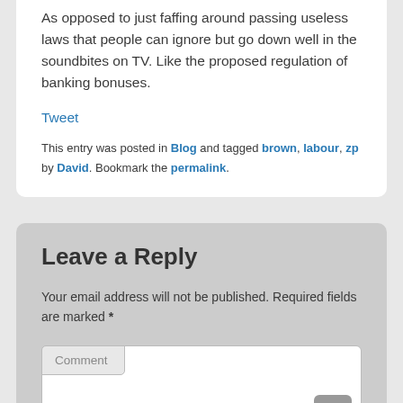As opposed to just faffing around passing useless laws that people can ignore but go down well in the soundbites on TV. Like the proposed regulation of banking bonuses.
Tweet
This entry was posted in Blog and tagged brown, labour, zp by David. Bookmark the permalink.
Leave a Reply
Your email address will not be published. Required fields are marked *
Comment